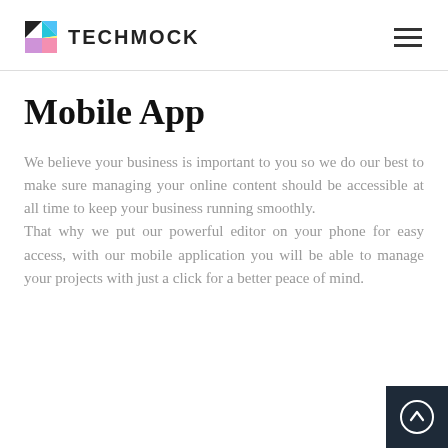TECHMOCK
Mobile App
We believe your business is important to you so we do our best to make sure managing your online content should be accessible at all time to keep your business running smoothly. That why we put our powerful editor on your phone for easy access, with our mobile application you will be able to manage your projects with just a click for a better peace of mind.
[Figure (other): Scroll-to-top button: dark navy square with upward arrow circle icon]